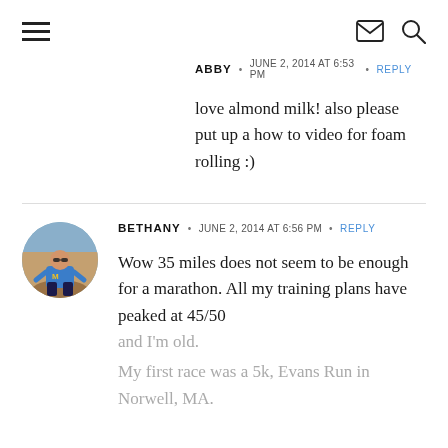Navigation header with hamburger menu, mail icon, and search icon
ABBY · JUNE 2, 2014 AT 6:53 PM · REPLY
love almond milk! also please put up a how to video for foam rolling :)
BETHANY · JUNE 2, 2014 AT 6:56 PM · REPLY
Wow 35 miles does not seem to be enough for a marathon. All my training plans have peaked at 45/50 and I'm old.
My first race was a 5k, Evans Run in Norwell, MA.